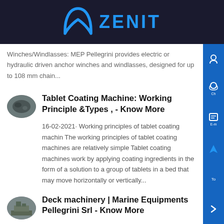[Figure (logo): Zenit logo with arc symbol and blue ZENIT text on dark background]
Winches/Windlasses: MEP Pellegrini provides electric or hydraulic driven anchor winches and windlasses, designed for up to 108 mm chain...
[Figure (photo): Small oval thumbnail image of machinery/coating machine]
Tablet Coating Machine: Working Principle &Types , - Know More
16-02-2021· Working principles of tablet coating machin The working principles of tablet coating machines are relatively simple Tablet coating machines work by applying coating ingredients in the form of a solution to a group of tablets in a bed that may move horizontally or vertically...
[Figure (photo): Small oval thumbnail image of deck/marine machinery]
Deck machinery | Marine Equipments Pellegrini Srl - Know More